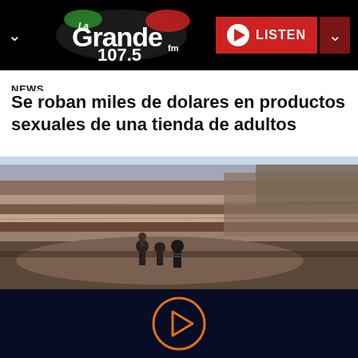La Grande 107.5 FM — LISTEN
NEWS
Se roban miles de dolares en productos sexuales de una tienda de adultos
[Figure (photo): Three people standing on rocky outcropping overlooking the Grand Canyon with layered red rock formations in the background]
[Figure (other): Play button circle icon on dark navy background — audio player control]